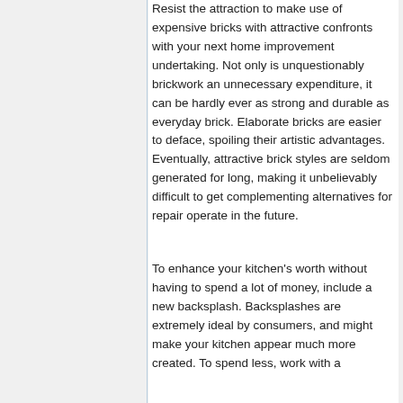Resist the attraction to make use of expensive bricks with attractive confronts with your next home improvement undertaking. Not only is unquestionably brickwork an unnecessary expenditure, it can be hardly ever as strong and durable as everyday brick. Elaborate bricks are easier to deface, spoiling their artistic advantages. Eventually, attractive brick styles are seldom generated for long, making it unbelievably difficult to get complementing alternatives for repair operate in the future.
To enhance your kitchen's worth without having to spend a lot of money, include a new backsplash. Backsplashes are extremely ideal by consumers, and might make your kitchen appear much more created. To spend less, work with a